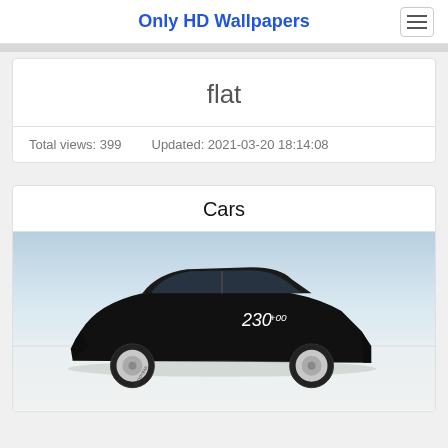Only HD Wallpapers
flat
Total views: 399    Updated: 2021-03-20 18:14:08
Cars
[Figure (photo): A black sports car (race car with number 230+00 written on the side) photographed in profile view on a flat white salt flat surface against a light blue sky background.]